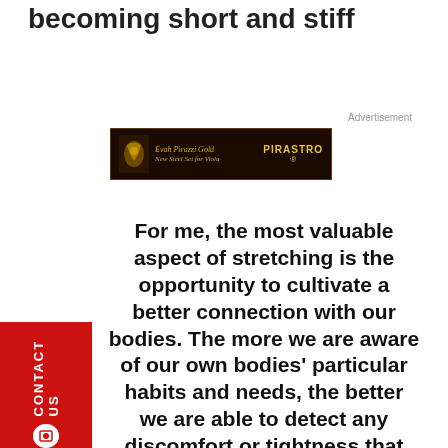becoming short and stiff
[Figure (other): Pirastro advertisement banner for Evah Pirazzi Gold New Steel Set for Viola]
For me, the most valuable aspect of stretching is the opportunity to cultivate a better connection with our bodies. The more we are aware of our own bodies’ particular habits and needs, the better we are able to detect any discomfort or tightness that needs
CONTACT US